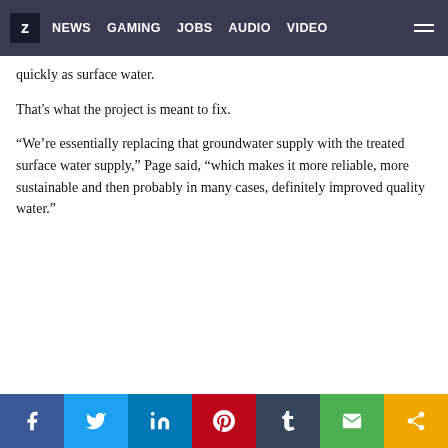Z NEWS GAMING JOBS AUDIO VIDEO
quickly as surface water.
That's what the project is meant to fix.
“We’re essentially replacing that groundwater supply with the treated surface water supply,” Page said, “which makes it more reliable, more sustainable and then probably in many cases, definitely improved quality water.”
Social share bar: Facebook, Twitter, LinkedIn, Pinterest, Tumblr, Email, Share